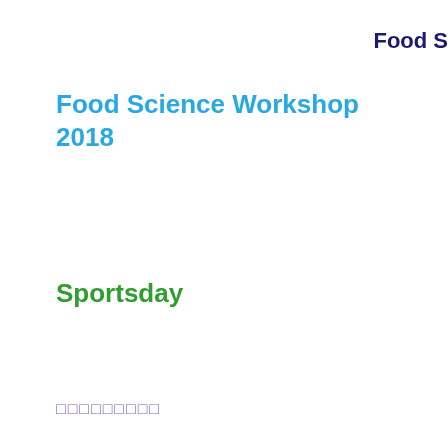Food S
Food Science Workshop 2018
Sportsday
□□□□□□□□□